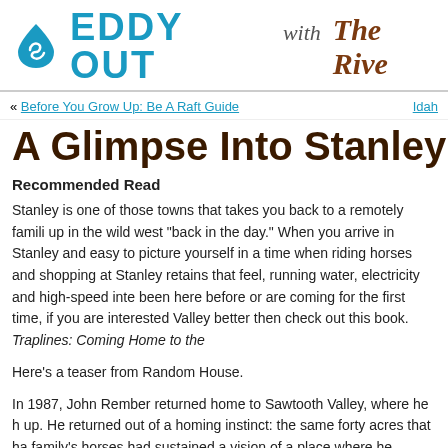EDDY OUT with The Rive
« Before You Grow Up: Be A Raft Guide   Idah
A Glimpse Into Stanley's
Recommended Read
Stanley is one of those towns that takes you back to a remotely famili up in the wild west "back in the day." When you arrive in Stanley and easy to picture yourself in a time when riding horses and shopping at Stanley retains that feel, running water, electricity and high-speed inte been here before or are coming for the first time, if you are interested Valley better then check out this book. Traplines: Coming Home to the
Here's a teaser from Random House.
In 1987, John Rember returned home to Sawtooth Valley, where he h up. He returned out of a homing instinct: the same forty acres that ha family's horses had sustained a vision of a place where he belonged i